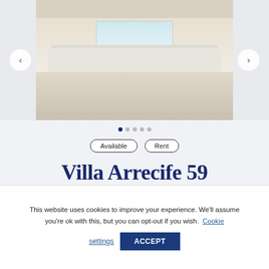[Figure (photo): Interior photo of a luxury villa living room with white sofas, blue accent pillows, large windows, and a ceiling fan. Image carousel with left and right navigation arrows.]
Available   Rent
Villa Arrecife 59
This website uses cookies to improve your experience. We'll assume you're ok with this, but you can opt-out if you wish. Cookie settings ACCEPT